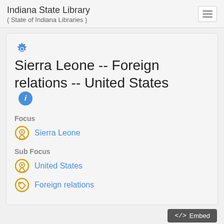Indiana State Library
( State of Indiana Libraries )
Sierra Leone -- Foreign relations -- United States
Focus
Sierra Leone
Sub Focus
United States
Foreign relations
4 Items that share the Concept ⚙ Sierra Leone -- Foreign relations -- United States